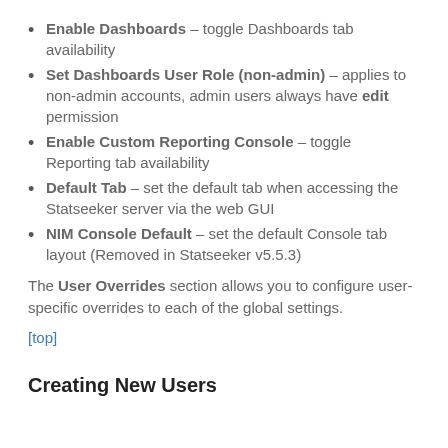Enable Dashboards – toggle Dashboards tab availability
Set Dashboards User Role (non-admin) – applies to non-admin accounts, admin users always have edit permission
Enable Custom Reporting Console – toggle Reporting tab availability
Default Tab – set the default tab when accessing the Statseeker server via the web GUI
NIM Console Default – set the default Console tab layout (Removed in Statseeker v5.5.3)
The User Overrides section allows you to configure user-specific overrides to each of the global settings.
[top]
Creating New Users